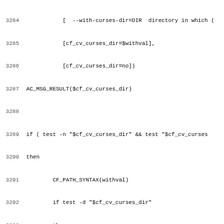Code listing lines 3284-3315, shell/autoconf script
3284    [ --with-curses-dir=DIR  directory in which (
3285    [cf_cv_curses_dir=$withval],
3286    [cf_cv_curses_dir=no])
3287 AC_MSG_RESULT($cf_cv_curses_dir)
3288
3289 if ( test -n "$cf_cv_curses_dir" && test "$cf_cv_curses
3290 then
3291         CF_PATH_SYNTAX(withval)
3292         if test -d "$cf_cv_curses_dir"
3293         then
3294                 CF_ADD_INCDIR($cf_cv_curses_dir/include
3295                 CF_ADD_LIBDIR($cf_cv_curses_dir/lib)
3296         fi
3297 fi
3298 ])dnl
3299 dnl -----------------------------------------------
3300 dnl CF_WITH_PATH version: 10 updated: 2010/10/23 15:44:
3301 dnl ------------
3302 dnl Wrapper for AC_ARG_WITH to ensure that user supplie
3303 dnl defaulting to yes/no.
3304 dnl
3305 dnl $1 = option name
3306 dnl $2 = help-text
3307 dnl $3 = environment variable to set
3308 dnl $4 = default value, shown in the help-message, must
3309 dnl $5 = default value, if it's an expression & cannot
3310 dnl
3311 AC_DEFUN([CF_WITH_PATH],
3312 [AC_ARG_WITH($1,[$2 ](default: ifelse([$4],,empty,[$4])
3313 ifelse([$4],,[withval="${$3}"],[withval="${$3:-ifelse(
3314 if ifelse([$5],,true,[test -n "$5"]) ; then
3315 CF_PATH_SYNTAX(withval)